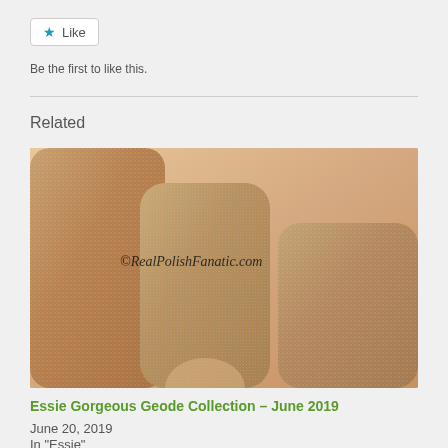[Figure (other): Like button widget with blue star icon]
Be the first to like this.
Related
[Figure (photo): Close-up photo of fingers with holographic glitter nail polish, watermark ©RealPolishFanatic.com]
Essie Gorgeous Geode Collection – June 2019
June 20, 2019
In "Essie"